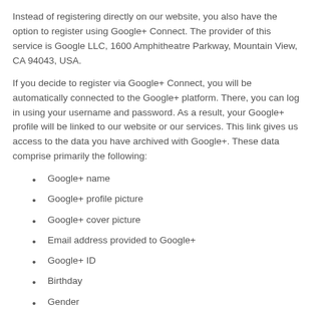Instead of registering directly on our website, you also have the option to register using Google+ Connect. The provider of this service is Google LLC, 1600 Amphitheatre Parkway, Mountain View, CA 94043, USA.
If you decide to register via Google+ Connect, you will be automatically connected to the Google+ platform. There, you can log in using your username and password. As a result, your Google+ profile will be linked to our website or our services. This link gives us access to the data you have archived with Google+. These data comprise primarily the following:
Google+ name
Google+ profile picture
Google+ cover picture
Email address provided to Google+
Google+ ID
Birthday
Gender
Country
This information will be used to set up, provide and customise your account.
The registration via Google+ Connect and the affiliated data processing transactions are implemented on the basis of your consent (Art. 6 Sect. 1 lit. a GDPR). You may revoke this consent at any time, which shall affect all